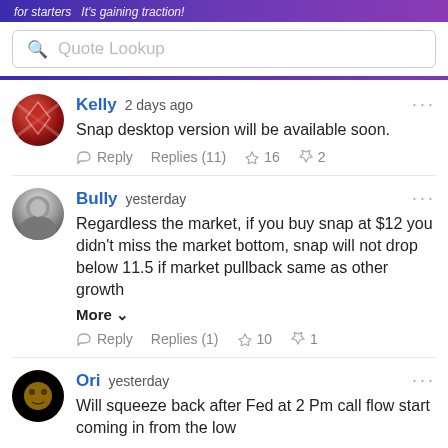for starters  It's gaining traction!
Quote Lookup
Kelly  2 days ago
Snap desktop version will be available soon.
Reply  Replies (11)  16  2
Bully  yesterday
Regardless the market, if you buy snap at $12 you didn't miss the market bottom, snap will not drop below 11.5 if market pullback same as other growth
More
Reply  Replies (1)  10  1
Ori  yesterday
Will squeeze back after Fed at 2 Pm call flow start coming in from the low
Reply  Replies (1)  9  1